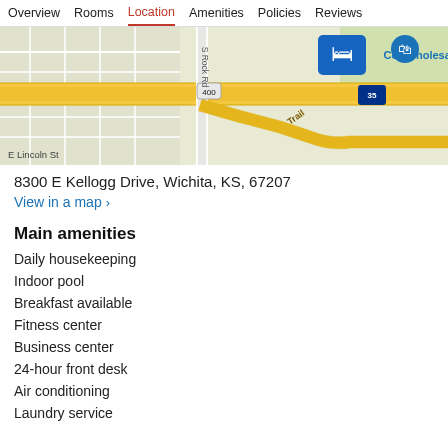Overview  Rooms  Location  Amenities  Policies  Reviews
[Figure (map): Google Maps view showing the area around 8300 E Kellogg Drive, Wichita, KS with road labels including E Lincoln St, S Rock Rd, highway 400, interstate 35, and a hotel map pin. Nearby label shows Costco Wholesale.]
8300 E Kellogg Drive, Wichita, KS, 67207
View in a map  >
Main amenities
Daily housekeeping
Indoor pool
Breakfast available
Fitness center
Business center
24-hour front desk
Air conditioning
Laundry service